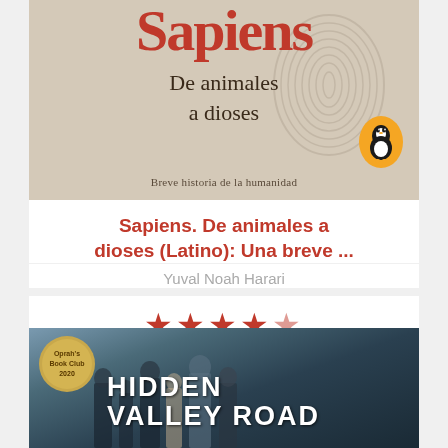[Figure (illustration): Book cover of Sapiens De animales a dioses by Yuval Noah Harari, published by Penguin. Tan/beige background with large red title text Sapiens, subtitle De animales a dioses, fingerprint watermark, Penguin logo, and tagline Breve historia de la humanidad.]
Sapiens. De animales a dioses (Latino): Una breve ...
Yuval Noah Harari
★★★★½
[Figure (photo): Book cover of Hidden Valley Road with photo of a family group on stairs, dark blue-toned background. Top left Oprah's Book Club 2020 gold badge. Large white bold text HIDDEN VALLEY ROAD across the bottom.]